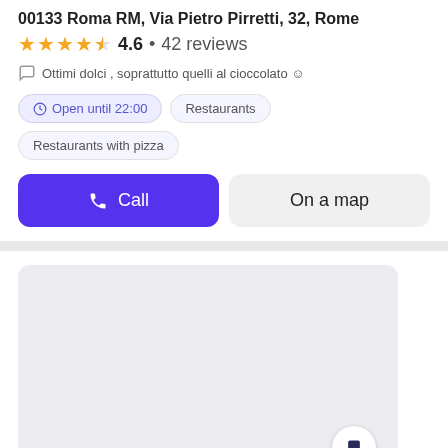00133 Roma RM, Via Pietro Pirretti, 32, Rome
4.6 · 42 reviews
Ottimi dolci , soprattutto quelli al cioccolato 😊
Open until 22:00
Restaurants
Restaurants with pizza
Call
On a map
[Figure (other): Map placeholder area showing a light grey rectangle representing a map view]
Pizza Margherita a Roma